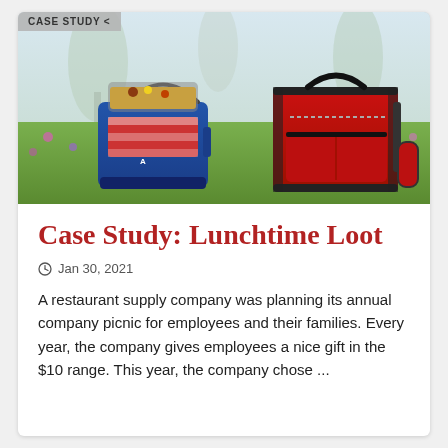[Figure (photo): Two insulated lunch cooler bags on a grassy field with spring flowers. Left bag is blue and open showing food inside; right bag is red with black trim and a shoulder strap.]
Case Study: Lunchtime Loot
Jan 30, 2021
A restaurant supply company was planning its annual company picnic for employees and their families. Every year, the company gives employees a nice gift in the $10 range. This year, the company chose ...